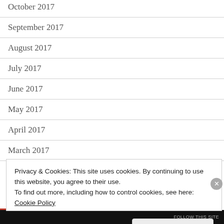October 2017
September 2017
August 2017
July 2017
June 2017
May 2017
April 2017
March 2017
February 2017
Privacy & Cookies: This site uses cookies. By continuing to use this website, you agree to their use.
To find out more, including how to control cookies, see here:
Cookie Policy
Close and accept